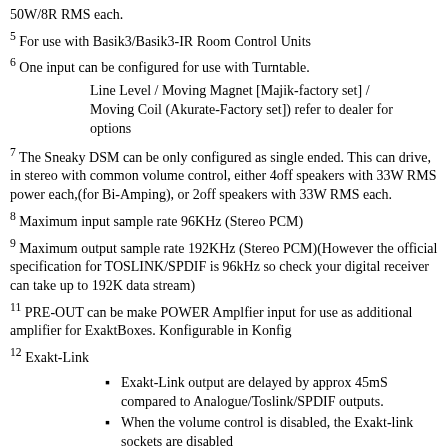50W/8R RMS each.
5 For use with Basik3/Basik3-IR Room Control Units
6 One input can be configured for use with Turntable.
Line Level / Moving Magnet [Majik-factory set] / Moving Coil (Akurate-Factory set]) refer to dealer for options
7 The Sneaky DSM can be only configured as single ended. This can drive, in stereo with common volume control, either 4off speakers with 33W RMS power each,(for Bi-Amping), or 2off speakers with 33W RMS each.
8 Maximum input sample rate 96KHz (Stereo PCM)
9 Maximum output sample rate 192KHz (Stereo PCM)(However the official specification for TOSLINK/SPDIF is 96kHz so check your digital receiver can take up to 192K data stream)
11 PRE-OUT can be make POWER Amplfier input for use as additional amplifier for ExaktBoxes. Konfigurable in Konfig
12 Exakt-Link
Exakt-Link output are delayed by approx 45mS compared to Analogue/Toslink/SPDIF outputs.
When the volume control is disabled, the Exakt-link sockets are disabled